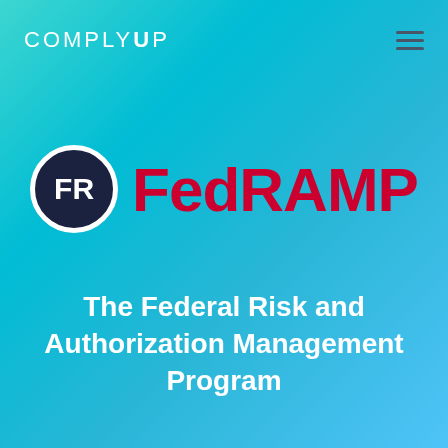COMPLYUP
[Figure (logo): FedRAMP logo: dark navy circle with white 'FR' letters beside large red 'FedRAMP' text]
The Federal Risk and Authorization Management Program